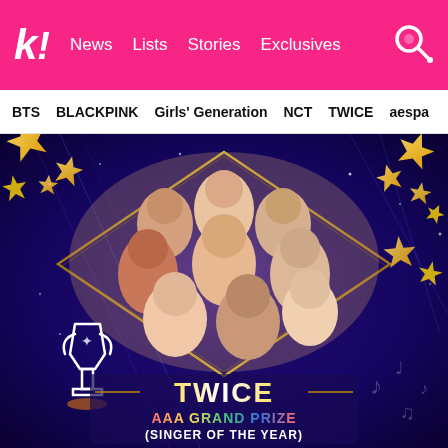k! News Lists Stories Exclusives
BTS  BLACKPINK  Girls' Generation  NCT  TWICE  aespa
[Figure (photo): TWICE group photo promotional image with dark purple/galaxy background, gold star decorations, white trophy icon on left, and text overlay: TWICE - AAA GRAND PRIZE (SINGER OF THE YEAR)]